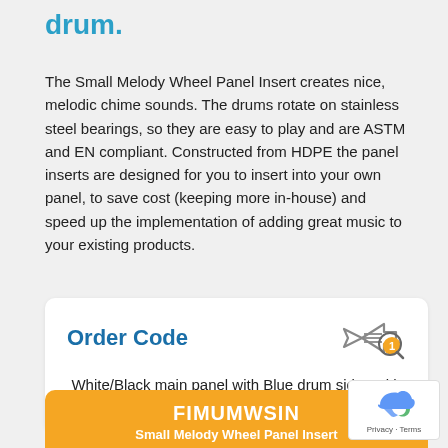drum.
The Small Melody Wheel Panel Insert creates nice, melodic chime sounds. The drums rotate on stainless steel bearings, so they are easy to play and are ASTM and EN compliant. Constructed from HDPE the panel inserts are designed for you to insert into your own panel, to save cost (keeping more in-house) and speed up the implementation of adding great music to your existing products.
Order Code
White/Black main panel with Blue drum sides with Black drum
FIMUMWSIN
Small Melody Wheel Panel Insert